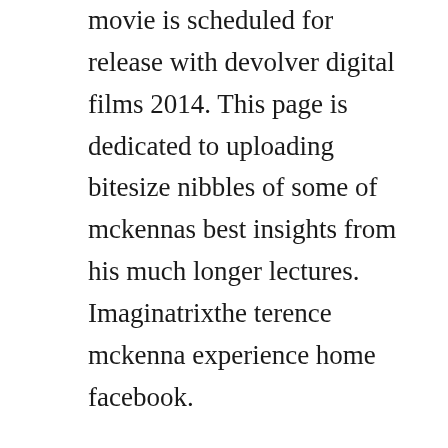movie is scheduled for release with devolver digital films 2014. This page is dedicated to uploading bitesize nibbles of some of mckennas best insights from his much longer lectures. Imaginatrixthe terence mckenna experience home facebook.
Terence mckenna the psychedelic experience shroomery. We have to create culture, dont watch tv, dont read magazines, dont even listen to npr. Terence mckenna was shit scared of mushrooms after 1988. In search of mythical shamanic hallucinogens, they